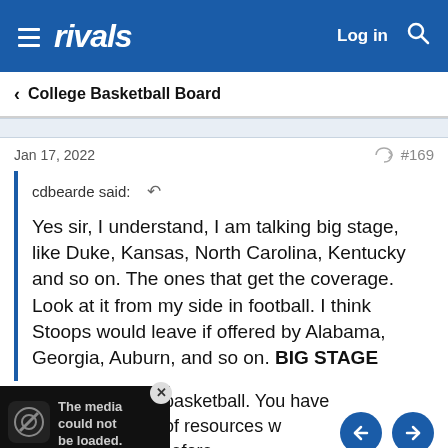rivals  Log in
< College Basketball Board
Jan 17, 2022    #169
cdbearde said:
Yes sir, I understand, I am talking big stage, like Duke, Kansas, North Carolina, Kentucky and so on. The ones that get the coverage.
Look at it from my side in football. I think Stoops would leave if offered by Alabama, Georgia, Auburn, and so on. BIG STAGE
age is changing in basketball. You have s now putting tons of resources w wasn't Happening before.